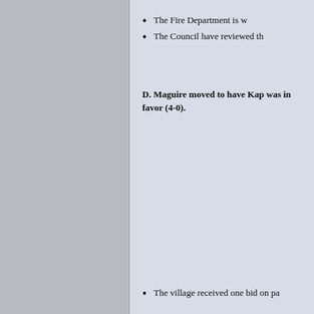The Fire Department is w
The Council have reviewed th
D. Maguire moved to have Kap was in favor (4-0).
The village received one bid on pa